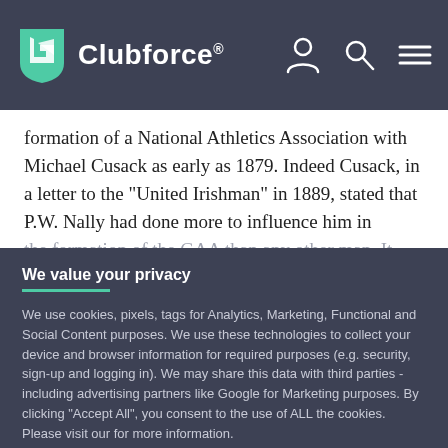[Figure (logo): Clubforce logo with shield icon and registered trademark on dark navy/grey background]
formation of a National Athletics Association with Michael Cusack as early as 1879. Indeed Cusack, in a letter to the "United Irishman" in 1889, stated that P.W. Nally had done more to influence him in the formation of the GAA than any other man. It is most likely that Nally would have been present
We value your privacy
We use cookies, pixels, tags for Analytics, Marketing, Functional and Social Content purposes. We use these technologies to collect your device and browser information for required purposes (e.g. security, sign-up and logging in). We may share this data with third parties - including advertising partners like Google for Marketing purposes. By clicking "Accept All", you consent to the use of ALL the cookies. Please visit our for more information.
Nally was sentenced to ten years imprisonment, first in